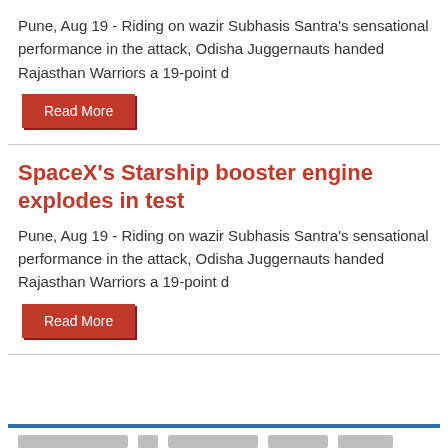Pune, Aug 19 - Riding on wazir Subhasis Santra's sensational performance in the attack, Odisha Juggernauts handed Rajasthan Warriors a 19-point d
Read More
SpaceX's Starship booster engine explodes in test
Pune, Aug 19 - Riding on wazir Subhasis Santra's sensational performance in the attack, Odisha Juggernauts handed Rajasthan Warriors a 19-point d
Read More